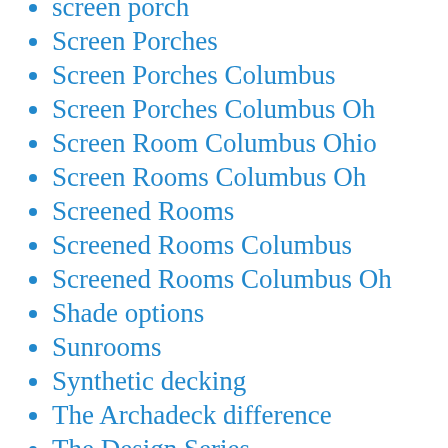screen porch
Screen Porches
Screen Porches Columbus
Screen Porches Columbus Oh
Screen Room Columbus Ohio
Screen Rooms Columbus Oh
Screened Rooms
Screened Rooms Columbus
Screened Rooms Columbus Oh
Shade options
Sunrooms
Synthetic decking
The Archadeck difference
The Design Series
The importance of customer feedback
Timbertech
TimberTech decks